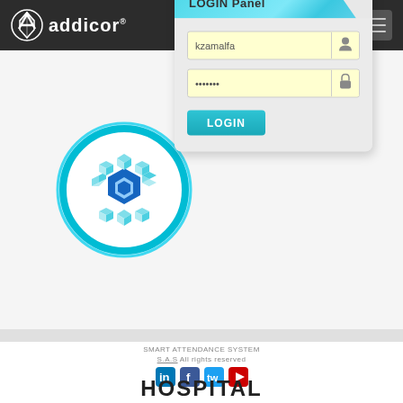[Figure (logo): Addicor logo with hamburger menu on dark header bar]
[Figure (illustration): Circular blue/cyan logo with gear/hexagon icon and LOGIN Panel form with username 'kzamalfa', password dots, and LOGIN button]
SMART ATTENDANCE SYSTEM
S.A.S All rights reserved
[Figure (illustration): Social media icons: LinkedIn, Facebook, Twitter, YouTube]
HOSPITAL